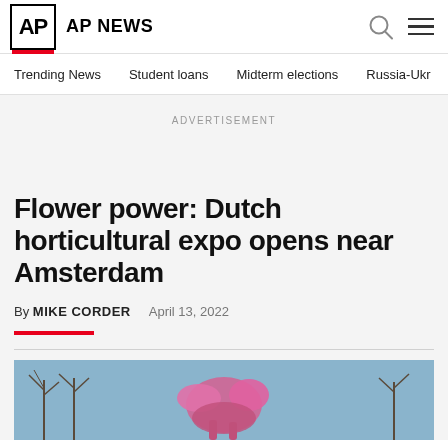AP NEWS
Trending News
Student loans
Midterm elections
Russia-Ukr
ADVERTISEMENT
Flower power: Dutch horticultural expo opens near Amsterdam
By MIKE CORDER   April 13, 2022
[Figure (photo): Pink sculptural flamingo or floral installation in foreground with bare trees and blue sky background]